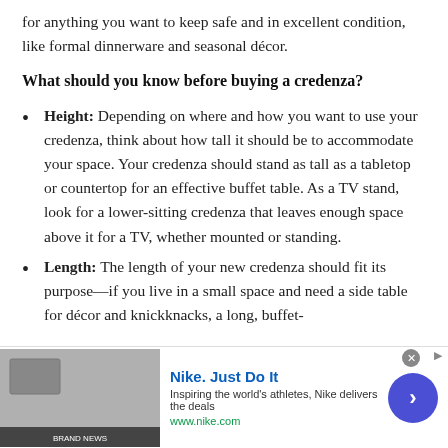for anything you want to keep safe and in excellent condition, like formal dinnerware and seasonal décor.
What should you know before buying a credenza?
Height: Depending on where and how you want to use your credenza, think about how tall it should be to accommodate your space. Your credenza should stand as tall as a tabletop or countertop for an effective buffet table. As a TV stand, look for a lower-sitting credenza that leaves enough space above it for a TV, whether mounted or standing.
Length: The length of your new credenza should fit its purpose—if you live in a small space and need a side table for décor and knickknacks, a long, buffet-
[Figure (screenshot): Advertisement banner for Nike. Just Do It with tagline 'Inspiring the world's athletes, Nike delivers the deals' and url www.nike.com, with a thumbnail image on the left and a circular arrow button on the right.]